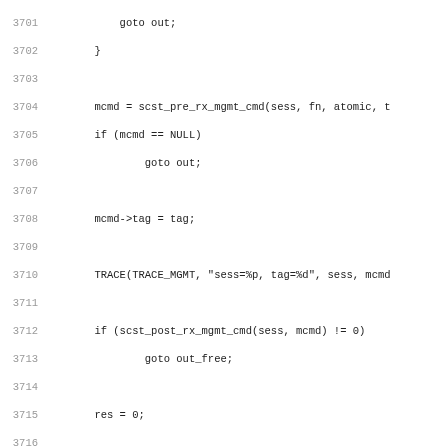[Figure (other): Source code listing in C, lines 3701-3732+, showing SCST management command handling functions including goto statements, NULL checks, TRACE macros, and struct definitions]